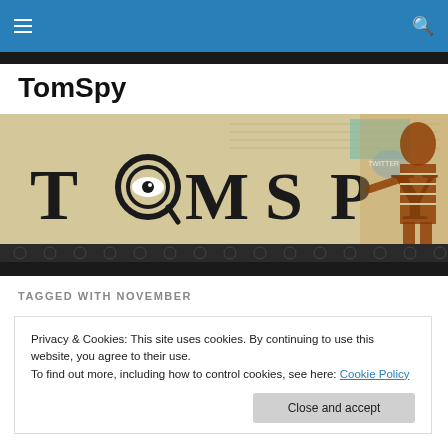TomSpy navigation bar
TomSpy
[Figure (illustration): TomSpy website banner with vintage/typewriter style letters spelling TOMSPY on a parchment-colored background with a magnifying glass as the letter O, a Twitter bird icon, and an Egyptian pharaoh-like figure on the right]
TAGGED WITH NOVEMBER
Privacy & Cookies: This site uses cookies. By continuing to use this website, you agree to their use.
To find out more, including how to control cookies, see here: Cookie Policy
Close and accept